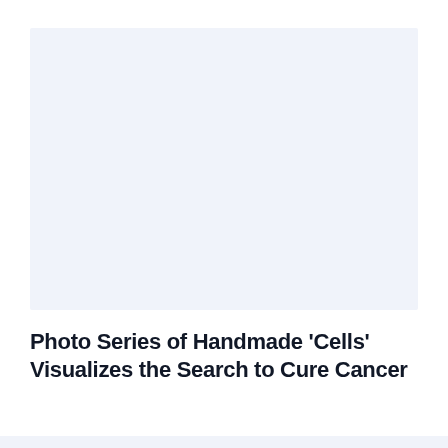[Figure (photo): Light blue/lavender placeholder image area representing a photo of handmade cells for cancer research visualization]
Photo Series of Handmade ‘Cells’ Visualizes the Search to Cure Cancer